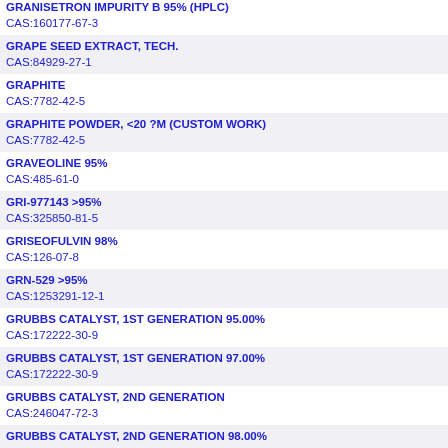| GRANISETRON IMPURITY B 95% (HPLC)
CAS:160177-67-3 |
| GRAPE SEED EXTRACT, TECH.
CAS:84929-27-1 |
| GRAPHITE
CAS:7782-42-5 |
| GRAPHITE POWDER, <20 ?M (CUSTOM WORK)
CAS:7782-42-5 |
| GRAVEOLINE 95%
CAS:485-61-0 |
| GRI-977143 >95%
CAS:325850-81-5 |
| GRISEOFULVIN 98%
CAS:126-07-8 |
| GRN-529 >95%
CAS:1253291-12-1 |
| GRUBBS CATALYST, 1ST GENERATION 95.00%
CAS:172222-30-9 |
| GRUBBS CATALYST, 1ST GENERATION 97.00%
CAS:172222-30-9 |
| GRUBBS CATALYST, 2ND GENERATION
CAS:246047-72-3 |
| GRUBBS CATALYST, 2ND GENERATION 98.00%
CAS:246047-72-3 |
| GRUBBS CATALYST™ 2ND GENERATION (CUSTOM W
CAS:246047-72-3 |
| GS-6201 >95%
CAS:752222-83-6 |